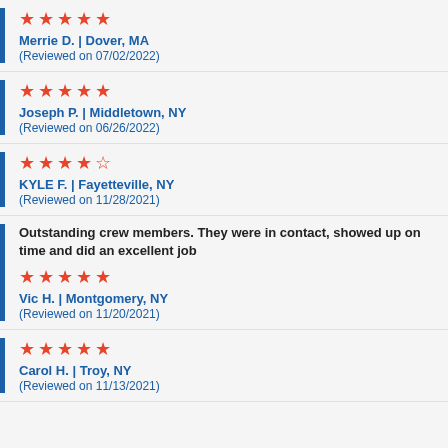Merrie D. | Dover, MA (Reviewed on 07/02/2022) ★★★★★
Joseph P. | Middletown, NY (Reviewed on 06/26/2022) ★★★★★
KYLE F. | Fayetteville, NY (Reviewed on 11/28/2021) ★★★★½
Outstanding crew members. They were in contact, showed up on time and did an excellent job — Vic H. | Montgomery, NY (Reviewed on 11/20/2021) ★★★★★
Carol H. | Troy, NY (Reviewed on 11/13/2021) ★★★★★